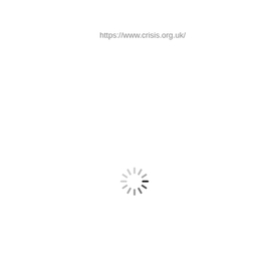https://www.crisis.org.uk/
[Figure (other): Loading spinner animation — a circular arrangement of short dashes in varying shades from dark (nearly black at top-right) to light gray, indicating a page loading state.]